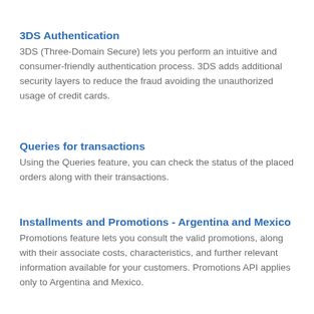3DS Authentication
3DS (Three-Domain Secure) lets you perform an intuitive and consumer-friendly authentication process. 3DS adds additional security layers to reduce the fraud avoiding the unauthorized usage of credit cards.
Queries for transactions
Using the Queries feature, you can check the status of the placed orders along with their transactions.
Installments and Promotions - Argentina and Mexico
Promotions feature lets you consult the valid promotions, along with their associate costs, characteristics, and further relevant information available for your customers. Promotions API applies only to Argentina and Mexico.